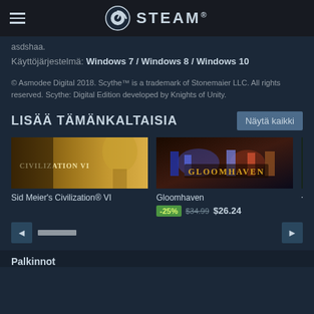STEAM
asdshaa.
Käyttöjärjestelmä: Windows 7 / Windows 8 / Windows 10
© Asmodee Digital 2018. Scythe™ is a trademark of Stonemaier LLC. All rights reserved. Scythe: Digital Edition developed by Knights of Unity.
LISÄÄ TÄMÄNKALTAISIA
[Figure (screenshot): Sid Meier's Civilization VI game cover art showing a golden statue]
Sid Meier's Civilization® VI
[Figure (screenshot): Gloomhaven game cover art showing fantasy characters with glowing effects]
Gloomhaven
-25% $34.99 $26.24
[Figure (screenshot): Partially visible game cover (Terra...)]
Terra
Palkinnot